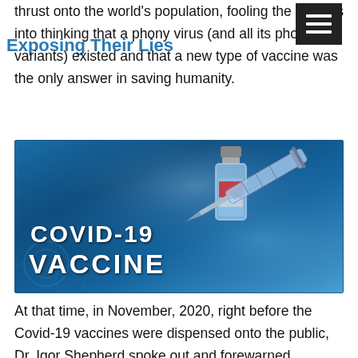Exposing Their Lies
thrust onto the world's population, fooling the masses into thinking that a phony virus (and all its phony variants) existed and that a new type of vaccine was the only answer in saving humanity.
[Figure (photo): COVID-19 VACCINE promotional/news image showing a vaccine vial, syringe, and blue background with bold white text reading 'COVID-19 VACCINE']
At that time, in November, 2020, right before the Covid-19 vaccines were dispensed onto the public, Dr. Igor Shepherd spoke out and forewarned